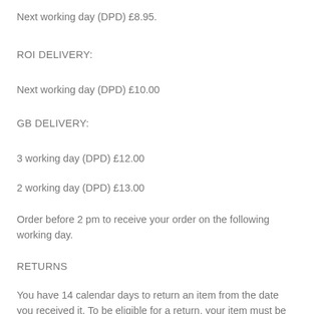Next working day (DPD) £8.95.
ROI DELIVERY:
Next working day (DPD) £10.00
GB DELIVERY:
3 working day (DPD) £12.00
2 working day (DPD) £13.00
Order before 2 pm to receive your order on the following working day.
RETURNS
You have 14 calendar days to return an item from the date you received it. To be eligible for a return, your item must be unused and in the same condition that